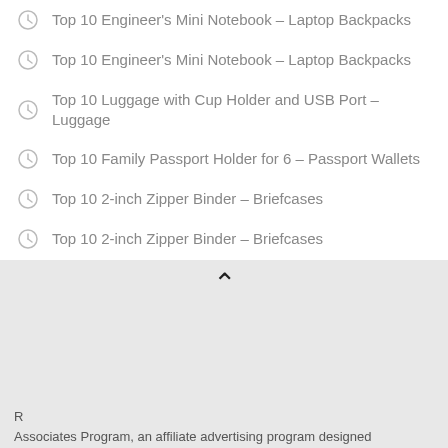Top 10 Engineer's Mini Notebook – Laptop Backpacks
Top 10 Engineer's Mini Notebook – Laptop Backpacks
Top 10 Luggage with Cup Holder and USB Port – Luggage
Top 10 Family Passport Holder for 6 – Passport Wallets
Top 10 2-inch Zipper Binder – Briefcases
Top 10 2-inch Zipper Binder – Briefcases
As an Amazon Associate I earn from qualifying purchases. This website uses the only necessary cookies to ensure you get the best experience on our website. More information
R
Associates Program, an affiliate advertising program designed